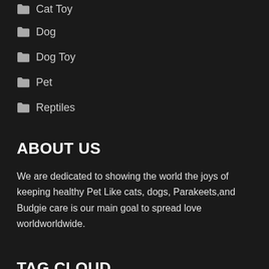Cat Toy
Dog
Dog Toy
Pet
Reptiles
ABOUT US
We are dedicated to showing the world the joys of keeping healthy Pet Like cats, dogs, Parakeets,and Budgie care is our main goal to spread love worldworldwide.
TAG CLOUD
Bearded Dragons